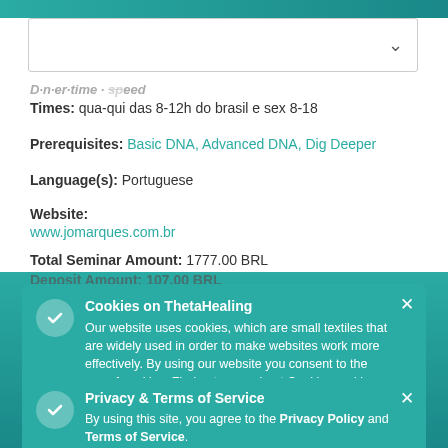[Figure (screenshot): Dropdown select box with down arrow chevron on right side]
Times: qua-qui das 8-12h do brasil e sex 8-18
Prerequisites: Basic DNA, Advanced DNA, Dig Deeper
Language(s): Portuguese
Website: www.jomarques.com.br
Total Seminar Amount: 1777.00 BRL
Deposit Amount: 107.00 BRL (partially visible)
Cookies on ThetaHealing
Our website uses cookies, which are small textiles that are widely used in order to make websites work more effectively. By using our website you consent to the use of cookies. Find out more about Cookies and how to change them.
Privacy & Terms of Service
By using this site, you agree to the Privacy Policy and Terms of Service.
Brazil